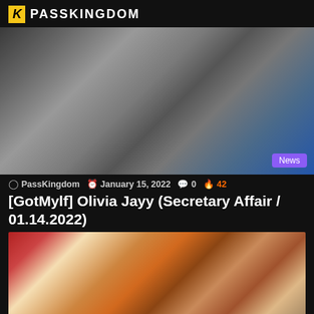PASSKINGDOM
[Figure (photo): Main article thumbnail photo with a 'News' badge overlay in the bottom right corner]
PassKingdom  January 15, 2022  0  42
[GotMylf] Olivia Jayy (Secretary Affair / 01.14.2022)
[Figure (photo): Second article image showing a woman with dark hair smiling in a doorway]